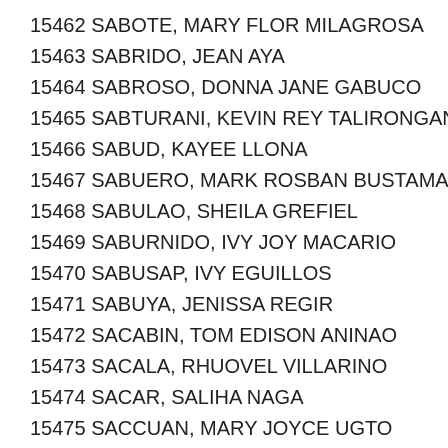15462 SABOTE, MARY FLOR MILAGROSA
15463 SABRIDO, JEAN AYA
15464 SABROSO, DONNA JANE GABUCO
15465 SABTURANI, KEVIN REY TALIRONGAN
15466 SABUD, KAYEE LLONA
15467 SABUERO, MARK ROSBAN BUSTAMANTE
15468 SABULAO, SHEILA GREFIEL
15469 SABURNIDO, IVY JOY MACARIO
15470 SABUSAP, IVY EGUILLOS
15471 SABUYA, JENISSA REGIR
15472 SACABIN, TOM EDISON ANINAO
15473 SACALA, RHUOVEL VILLARINO
15474 SACAR, SALIHA NAGA
15475 SACCUAN, MARY JOYCE UGTO
15476 SACE, IVKA ANGELA NIPAN